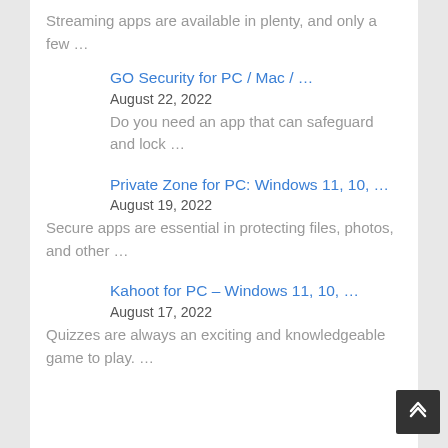Streaming apps are available in plenty, and only a few …
GO Security for PC / Mac / …
August 22, 2022
Do you need an app that can safeguard and lock …
Private Zone for PC: Windows 11, 10, …
August 19, 2022
Secure apps are essential in protecting files, photos, and other …
Kahoot for PC – Windows 11, 10, …
August 17, 2022
Quizzes are always an exciting and knowledgeable game to play. …